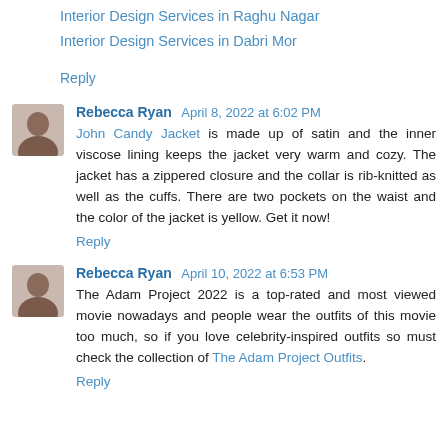Interior Design Services in Raghu Nagar
Interior Design Services in Dabri Mor
Reply
Rebecca Ryan  April 8, 2022 at 6:02 PM
John Candy Jacket is made up of satin and the inner viscose lining keeps the jacket very warm and cozy. The jacket has a zippered closure and the collar is rib-knitted as well as the cuffs. There are two pockets on the waist and the color of the jacket is yellow. Get it now!
Reply
Rebecca Ryan  April 10, 2022 at 6:53 PM
The Adam Project 2022 is a top-rated and most viewed movie nowadays and people wear the outfits of this movie too much, so if you love celebrity-inspired outfits so must check the collection of The Adam Project Outfits.
Reply